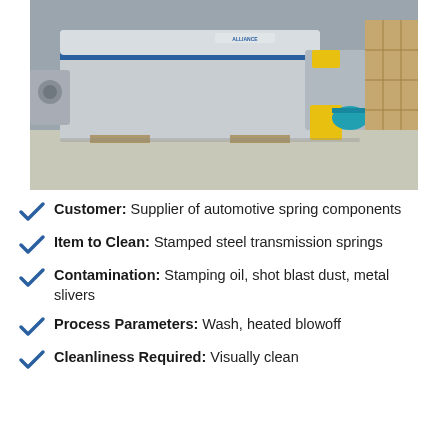[Figure (photo): Industrial parts washing/cleaning machine (conveyor washer) in a warehouse or factory setting. The machine is large, gray/silver colored with a blue stripe and yellow safety markings. Storage shelving is visible in the background.]
Customer: Supplier of automotive spring components
Item to Clean: Stamped steel transmission springs
Contamination: Stamping oil, shot blast dust, metal slivers
Process Parameters: Wash, heated blowoff
Cleanliness Required: Visually clean